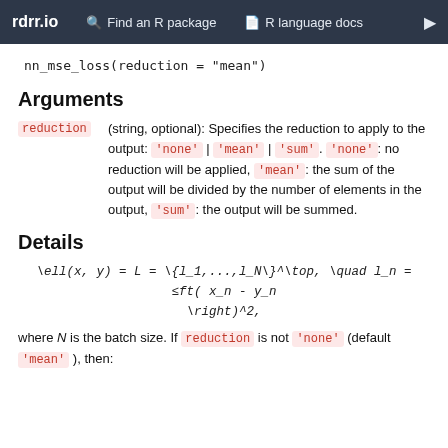rdrr.io   Find an R package   R language docs
nn_mse_loss(reduction = "mean")
Arguments
reduction (string, optional): Specifies the reduction to apply to the output: 'none' | 'mean' | 'sum'. 'none': no reduction will be applied, 'mean': the sum of the output will be divided by the number of elements in the output, 'sum': the output will be summed.
Details
where N is the batch size. If reduction is not 'none' (default 'mean'), then: